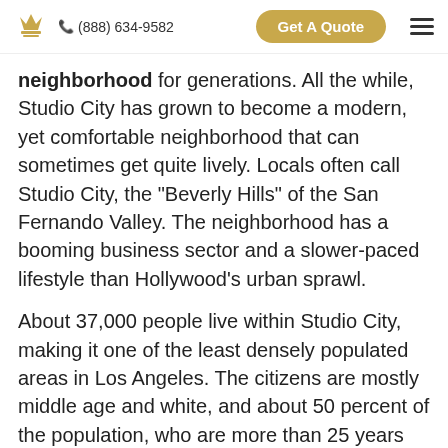(888) 634-9582 | Get A Quote
neighborhood for generations. All the while, Studio City has grown to become a modern, yet comfortable neighborhood that can sometimes get quite lively. Locals often call Studio City, the "Beverly Hills" of the San Fernando Valley. The neighborhood has a booming business sector and a slower-paced lifestyle than Hollywood's urban sprawl.
About 37,000 people live within Studio City, making it one of the least densely populated areas in Los Angeles. The citizens are mostly middle age and white, and about 50 percent of the population, who are more than 25 years old, have a 4-year college degree. Studio City